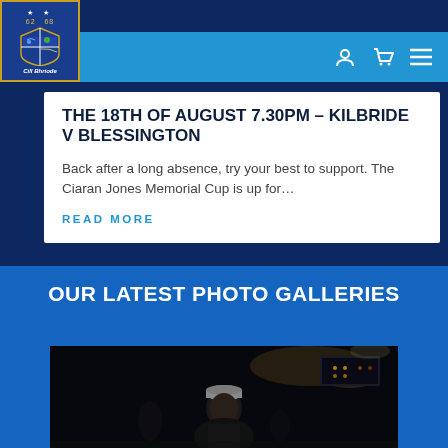[Figure (logo): Kilbride GAA club crest/logo with stars and shield design, text 'Cill Bhriode' below]
Navigation bar with user icon, cart icon, and menu icon
THE 18TH OF AUGUST 7.30PM - KILBRIDE V BLESSINGTON
Back after a long absence, try your best to support. The Ciaran Jones Memorial Cup is up for...
READ MORE
OUR LATEST PHOTO GALLERIES
[Figure (photo): Dark nighttime photo showing a person wearing a grey beanie hat with lights/scoreboard visible in background]